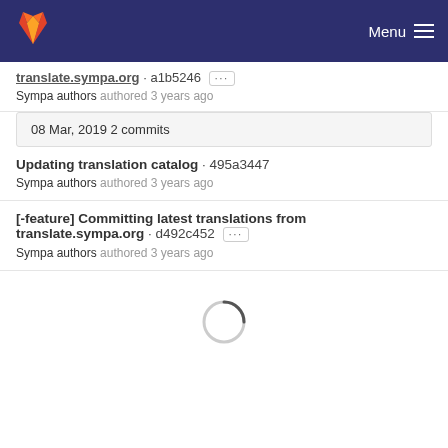GitLab — Menu
translate.sympa.org · a1b5246 ··· Sympa authors authored 3 years ago
08 Mar, 2019 2 commits
Updating translation catalog · 495a3447
Sympa authors authored 3 years ago
[-feature] Committing latest translations from translate.sympa.org · d492c452 ···
Sympa authors authored 3 years ago
[Figure (other): Loading spinner (circular progress indicator)]